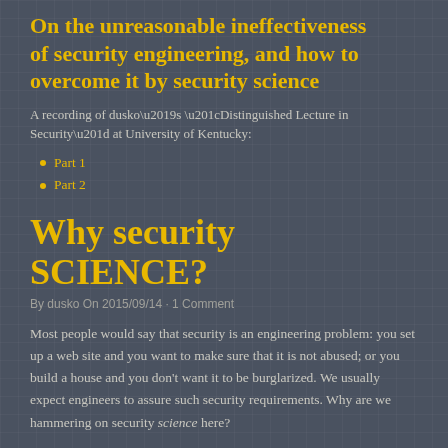On the unreasonable ineffectiveness of security engineering, and how to overcome it by security science
A recording of dusko’s “Distinguished Lecture in Security” at University of Kentucky:
Part 1
Part 2
Why security SCIENCE?
By dusko On 2015/09/14 · 1 Comment
Most people would say that security is an engineering problem: you set up a web site and you want to make sure that it is not abused; or you build a house and you don’t want it to be burglarized. We usually expect engineers to assure such security requirements. Why are we hammering on security science here?